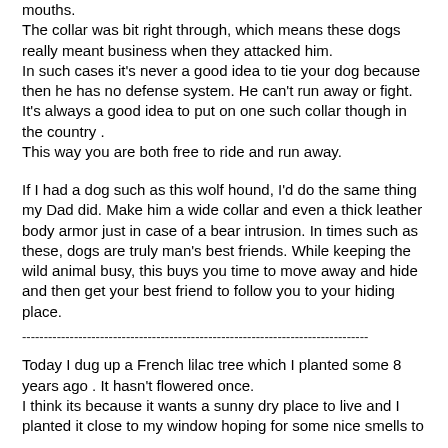mouths.
The collar was bit right through, which means these dogs really meant business when they attacked him.
In such cases it's never a good idea to tie your dog because then he has no defense system. He can't run away or fight. It's always a good idea to put on one such collar though in the country .
This way you are both free to ride and run away.
If I had a dog such as this wolf hound, I'd do the same thing my Dad did. Make him a wide collar and even a thick leather body armor just in case of a bear intrusion. In times such as these, dogs are truly man's best friends. While keeping the wild animal busy, this buys you time to move away and hide and then get your best friend to follow you to your hiding place.
--------------------------------------------------------------------------------
Today I dug up a French lilac tree which I planted some 8 years ago . It hasn't flowered once.
I think its because it wants a sunny dry place to live and I planted it close to my window hoping for some nice smells to